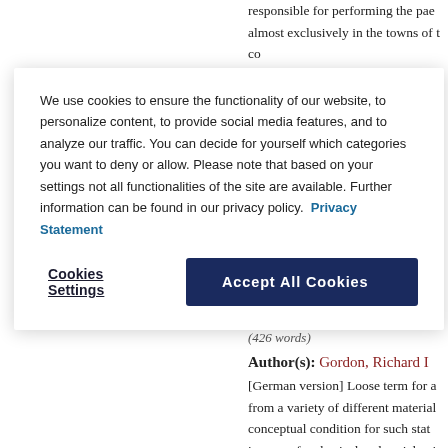responsible for performing the pae almost exclusively in the towns of t co er k e.g
We use cookies to ensure the functionality of our website, to personalize content, to provide social media features, and to analyze our traffic. You can decide for yourself which categories you want to deny or allow. Please note that based on your settings not all functionalities of the site are available. Further information can be found in our privacy policy. Privacy Statement
Cookies Settings
Accept All Cookies
(426 words)
Author(s): Gordon, Richard I
[German version] Loose term for a from a variety of different material conceptual condition for such stat images of a physical and social exis abolishment of the difference betw are incapable of self-determination